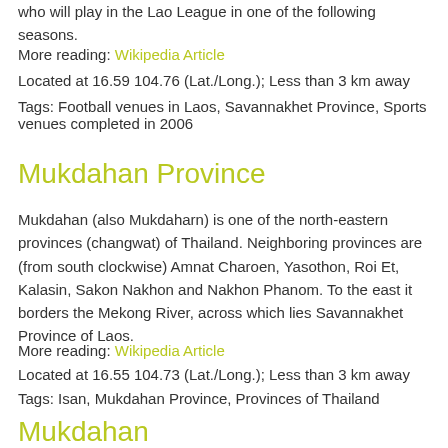who will play in the Lao League in one of the following seasons.
More reading: Wikipedia Article
Located at 16.59 104.76 (Lat./Long.); Less than 3 km away
Tags: Football venues in Laos, Savannakhet Province, Sports venues completed in 2006
Mukdahan Province
Mukdahan (also Mukdaharn) is one of the north-eastern provinces (changwat) of Thailand. Neighboring provinces are (from south clockwise) Amnat Charoen, Yasothon, Roi Et, Kalasin, Sakon Nakhon and Nakhon Phanom. To the east it borders the Mekong River, across which lies Savannakhet Province of Laos.
More reading: Wikipedia Article
Located at 16.55 104.73 (Lat./Long.); Less than 3 km away
Tags: Isan, Mukdahan Province, Provinces of Thailand
Mukdahan